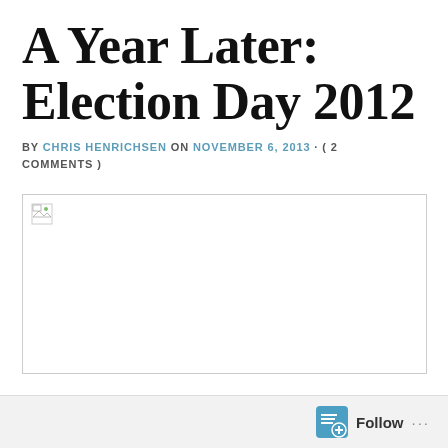A Year Later: Election Day 2012
BY CHRIS HENRICHSEN ON NOVEMBER 6, 2013 · ( 2 COMMENTS )
[Figure (photo): Broken/missing image placeholder with small image icon in top-left corner]
Follow ···